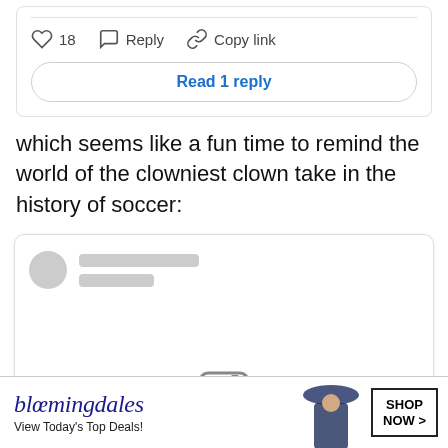[Figure (screenshot): Social media post action bar showing heart icon with count 18, Reply button, and Copy link button, followed by a 'Read 1 reply' button]
which seems like a fun time to remind the world of the clowniest clown take in the history of soccer:
[Figure (screenshot): Embedded social media post card with blurred/placeholder avatar and two grey placeholder bars for username and handle]
[Figure (screenshot): Bloomingdales advertisement banner: 'bloomingdales / View Today's Top Deals!' with woman in hat and 'SHOP NOW >' button]